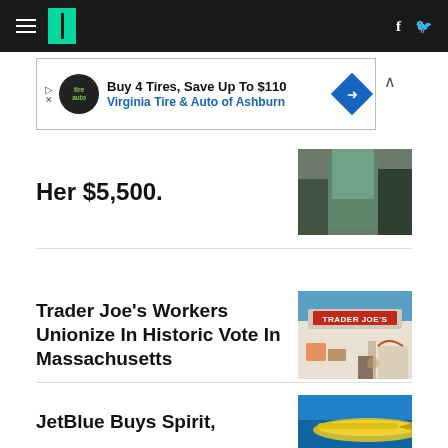HuffPost navigation bar with hamburger menu, logo, facebook and twitter icons
[Figure (screenshot): Advertisement banner: Buy 4 Tires, Save Up To $110 - Virginia Tire & Auto of Ashburn]
Her $5,500.
[Figure (photo): Partial photo of a person wearing teal/green jacket]
Trader Joe's Workers Unionize In Historic Vote In Massachusetts
[Figure (photo): Photo of a Trader Joe's storefront with red sign, outdoor seating, person walking]
JetBlue Buys Spirit,
[Figure (photo): Partial photo of a yellow Spirit Airlines airplane against blue sky]